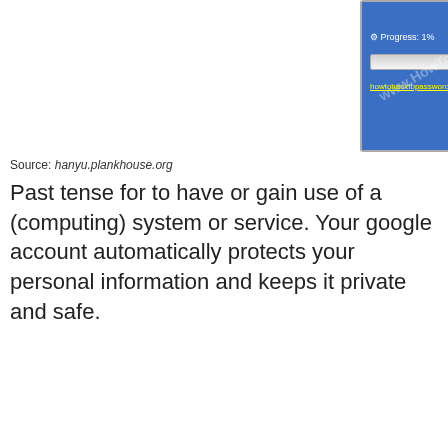[Figure (screenshot): Screenshot of a hacking tool interface with blue background, close button, Progress label, Start Hacking button, progress bar, a URL link and About button. Watermark text www.HowToHa... overlaid diagonally.]
Source: hanyu.plankhouse.org
Past tense for to have or gain use of a (computing) system or service. Your google account automatically protects your personal information and keeps it private and safe.
[Figure (screenshot): Screenshot of WhatsApp HACK! tool interface showing green WhatsApp logo, dark teal header, form with fields: Victims Phone No. (8325552002), Select County (United States of America), What to Hack (Messages, Images, Videos, All), Start here button in red, red arrows pointing to fields, close button overlay.]